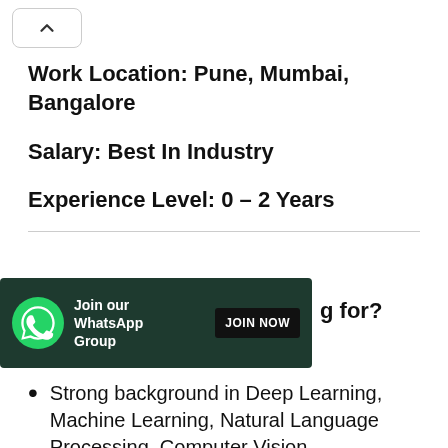Work Location: Pune, Mumbai, Bangalore
Salary: Best In Industry
Experience Level: 0 – 2 Years
[Figure (infographic): WhatsApp group join banner with green background, WhatsApp logo icon, text 'Join our WhatsApp Group', and a black 'JOIN NOW' button]
g for?
Strong background in Deep Learning, Machine Learning, Natural Language Processing, Computer Vision,